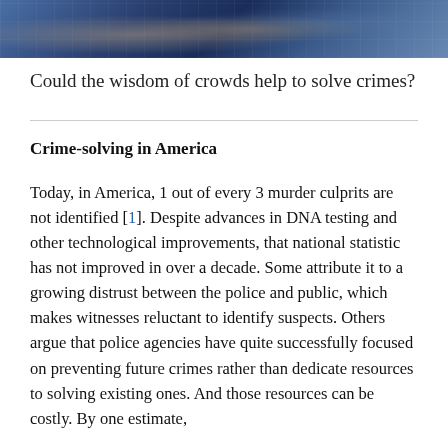[Figure (photo): Cropped photo showing hands and a digital/cyber themed background with blue tones and overlaid binary/data imagery]
Could the wisdom of crowds help to solve crimes?
Crime-solving in America
Today, in America, 1 out of every 3 murder culprits are not identified [1]. Despite advances in DNA testing and other technological improvements, that national statistic has not improved in over a decade. Some attribute it to a growing distrust between the police and public, which makes witnesses reluctant to identify suspects. Others argue that police agencies have quite successfully focused on preventing future crimes rather than dedicate resources to solving existing ones. And those resources can be costly. By one estimate,